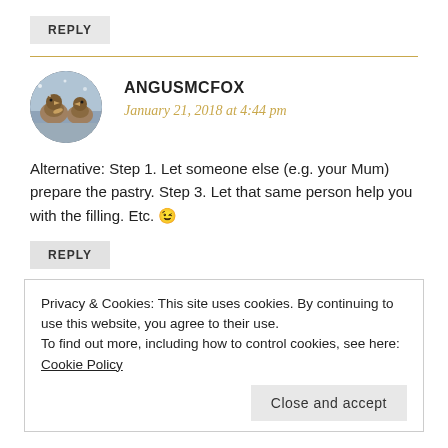REPLY
ANGUSMCFOX
January 21, 2018 at 4:44 pm
Alternative: Step 1. Let someone else (e.g. your Mum) prepare the pastry. Step 3. Let that same person help you with the filling. Etc. 😉
REPLY
Privacy & Cookies: This site uses cookies. By continuing to use this website, you agree to their use.
To find out more, including how to control cookies, see here: Cookie Policy
Close and accept